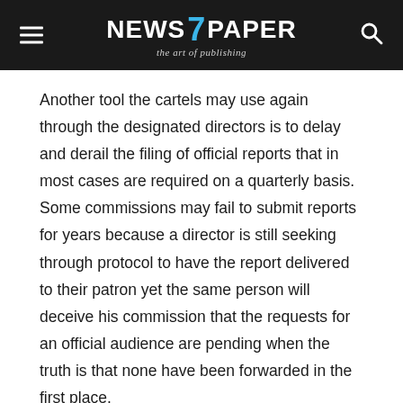NEWS 7 PAPER — the art of publishing
Another tool the cartels may use again through the designated directors is to delay and derail the filing of official reports that in most cases are required on a quarterly basis. Some commissions may fail to submit reports for years because a director is still seeking through protocol to have the report delivered to their patron yet the same person will deceive his commission that the requests for an official audience are pending when the truth is that none have been forwarded in the first place.
The ultimate aim of this is to bring the commission into disrepute and point out their failure to comply with their terms of reference while hiding the fact that the same directors may, using skewed legal inference from the ministry 'AG's', try to convinced members of the commission to embargo the